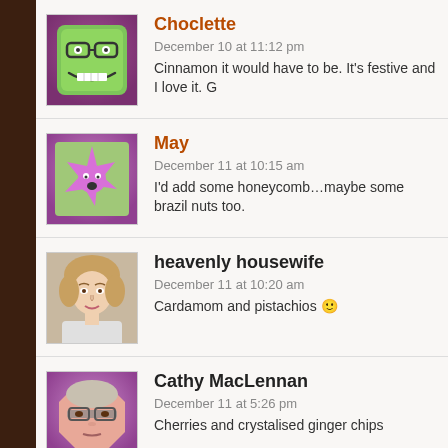Choclette
December 10 at 11:12 pm
Cinnamon it would have to be. It's festive and I love it. G
May
December 11 at 10:15 am
I'd add some honeycomb…maybe some brazil nuts too.
heavenly housewife
December 11 at 10:20 am
Cardamom and pistachios 🙂
Cathy MacLennan
December 11 at 5:26 pm
Cherries and crystalised ginger chips